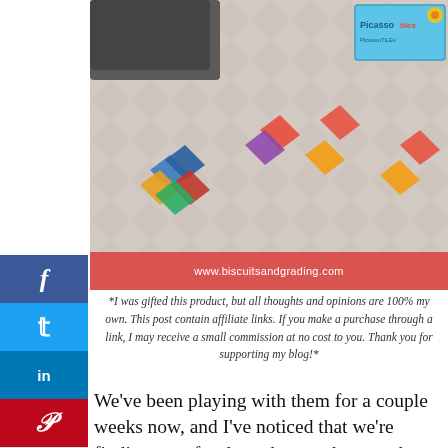[Figure (photo): Colorful PicassoTile magnetic building tiles scattered on a patterned rug/mat, with a PicassoTiles box visible in the upper right corner and a dark background at the top.]
www.biscuitsandgrading.com
*I was gifted this product, but all thoughts and opinions are 100% my own. This post contain affiliate links. If you make a purchase through a link, I may receive a small commission at no cost to you. Thank you for supporting my blog!*
We've been playing with them for a couple weeks now, and I've noticed that we're finding uses for them that go above and beyond building. So I wanted to share with you the ways we use our PicassoTiles and how they are encouraging STEM learning opportunities with our toddler.